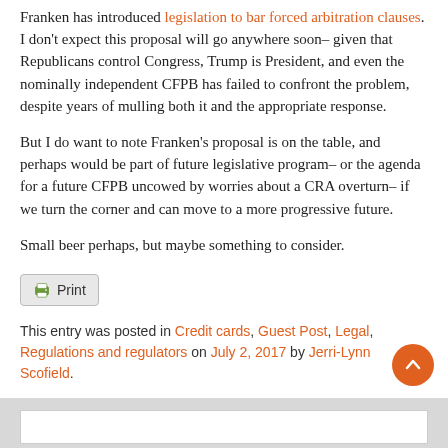Franken has introduced legislation to bar forced arbitration clauses. I don't expect this proposal will go anywhere soon– given that Republicans control Congress, Trump is President, and even the nominally independent CFPB has failed to confront the problem, despite years of mulling both it and the appropriate response.
But I do want to note Franken's proposal is on the table, and perhaps would be part of future legislative program– or the agenda for a future CFPB uncowed by worries about a CRA overturn– if we turn the corner and can move to a more progressive future.
Small beer perhaps, but maybe something to consider.
This entry was posted in Credit cards, Guest Post, Legal, Regulations and regulators on July 2, 2017 by Jerri-Lynn Scofield.